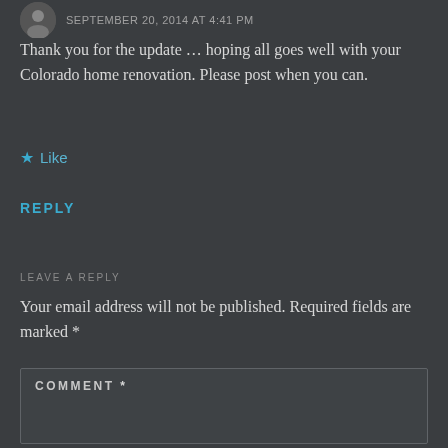SEPTEMBER 20, 2014 AT 4:41 PM
Thank you for the update … hoping all goes well with your Colorado home renovation. Please post when you can.
★ Like
REPLY
LEAVE A REPLY
Your email address will not be published. Required fields are marked *
COMMENT *